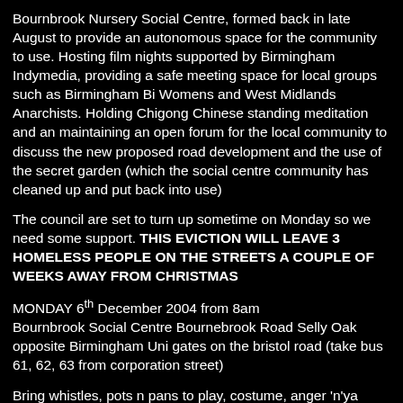Bournbrook Nursery Social Centre, formed back in late August to provide an autonomous space for the community to use. Hosting film nights supported by Birmingham Indymedia, providing a safe meeting space for local groups such as Birmingham Bi Womens and West Midlands Anarchists. Holding Chigong Chinese standing meditation and an maintaining an open forum for the local community to discuss the new proposed road development and the use of the secret garden (which the social centre community has cleaned up and put back into use)
The council are set to turn up sometime on Monday so we need some support. THIS EVICTION WILL LEAVE 3 HOMELESS PEOPLE ON THE STREETS A COUPLE OF WEEKS AWAY FROM CHRISTMAS
MONDAY 6th December 2004 from 8am Bournbrook Social Centre Bournebrook Road Selly Oak opposite Birmingham Uni gates on the bristol road (take bus 61, 62, 63 from corporation street)
Bring whistles, pots n pans to play, costume, anger 'n'ya energy, humour.